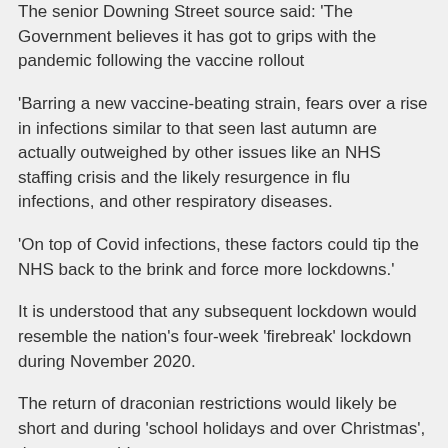The senior Downing Street source said: 'The Government believes it has got to grips with the pandemic following the vaccine rollout
'Barring a new vaccine-beating strain, fears over a rise in infections similar to that seen last autumn are actually outweighed by other issues like an NHS staffing crisis and the likely resurgence in flu infections, and other respiratory diseases.
'On top of Covid infections, these factors could tip the NHS back to the brink and force more lockdowns.'
It is understood that any subsequent lockdown would resemble the nation's four-week 'firebreak' lockdown during November 2020.
The return of draconian restrictions would likely be short and during 'school holidays and over Christmas', the source adds.